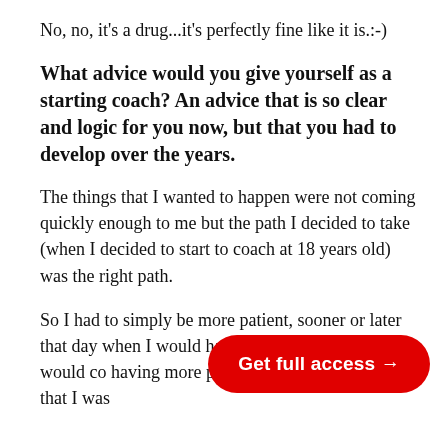No, no, it's a drug...it's perfectly fine like it is.:-)
What advice would you give yourself as a starting coach? An advice that is so clear and logic for you now, but that you had to develop over the years.
The things that I wanted to happen were not coming quickly enough to me but the path I decided to take (when I decided to start to coach at 18 years old) was the right path.
So I had to simply be more patient, sooner or later that day when I would have th coach at a high level would co having more patience because the path that I was
[Figure (other): Red oval button with white text reading 'Get full access →']